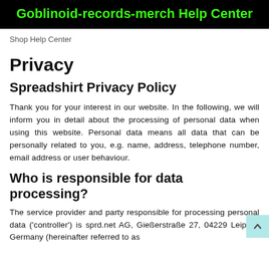Goblinoid-records-merch Help Center
Shop Help Center
Privacy
Spreadshirt Privacy Policy
Thank you for your interest in our website. In the following, we will inform you in detail about the processing of personal data when using this website. Personal data means all data that can be personally related to you, e.g. name, address, telephone number, email address or user behaviour.
Who is responsible for data processing?
The service provider and party responsible for processing personal data ('controller') is sprd.net AG, Gießerstraße 27, 04229 Leipzig, Germany (hereinafter referred to as